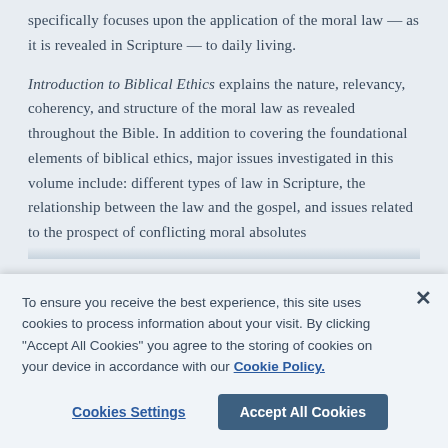specifically focuses upon the application of the moral law — as it is revealed in Scripture — to daily living.
Introduction to Biblical Ethics explains the nature, relevancy, coherency, and structure of the moral law as revealed throughout the Bible. In addition to covering the foundational elements of biblical ethics, major issues investigated in this volume include: different types of law in Scripture, the relationship between the law and the gospel, and issues related to the prospect of conflicting moral absolutes.
To ensure you receive the best experience, this site uses cookies to process information about your visit. By clicking "Accept All Cookies" you agree to the storing of cookies on your device in accordance with our Cookie Policy.